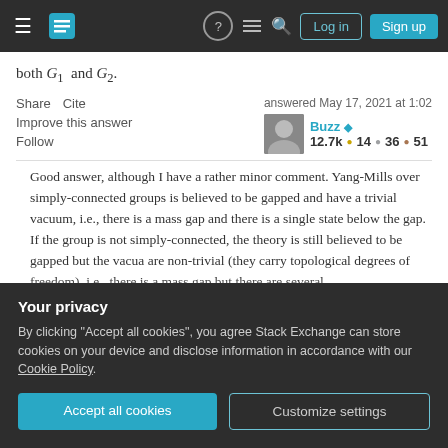Stack Exchange navigation bar with Log in and Sign up buttons
Share   Cite
Improve this answer
Follow
answered May 17, 2021 at 1:02
Buzz ◆  12.7k ● 14 ● 36 ● 51
Good answer, although I have a rather minor comment. Yang-Mills over simply-connected groups is believed to be gapped and have a trivial vacuum, i.e., there is a mass gap and there is a single state below the gap. If the group is not simply-connected, the theory is still believed to be gapped but the vacua are non-trivial (they carry topological degrees of freedom), i.e., there is a mass gap but there are several
Your privacy
By clicking "Accept all cookies", you agree Stack Exchange can store cookies on your device and disclose information in accordance with our Cookie Policy.
Accept all cookies   Customize settings